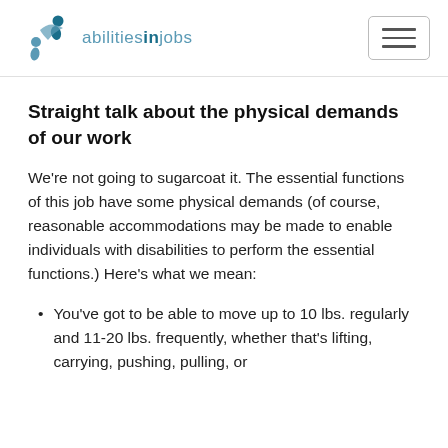abilitiesinjobs
Straight talk about the physical demands of our work
We're not going to sugarcoat it. The essential functions of this job have some physical demands (of course, reasonable accommodations may be made to enable individuals with disabilities to perform the essential functions.) Here's what we mean:
You've got to be able to move up to 10 lbs. regularly and 11-20 lbs. frequently, whether that's lifting, carrying, pushing, pulling, or